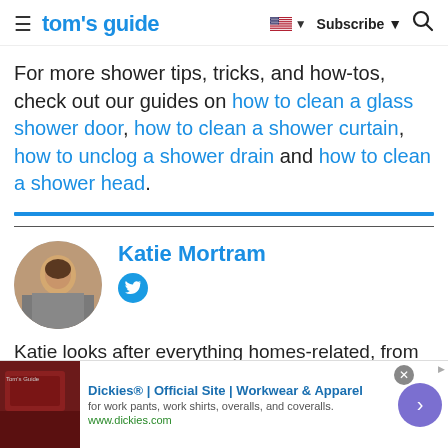tom's guide — Subscribe
For more shower tips, tricks, and how-tos, check out our guides on how to clean a glass shower door, how to clean a shower curtain, how to unclog a shower drain and how to clean a shower head.
Katie Mortram
Katie looks after everything homes-related, from
[Figure (other): Advertisement banner for Dickies Official Site - Workwear & Apparel]